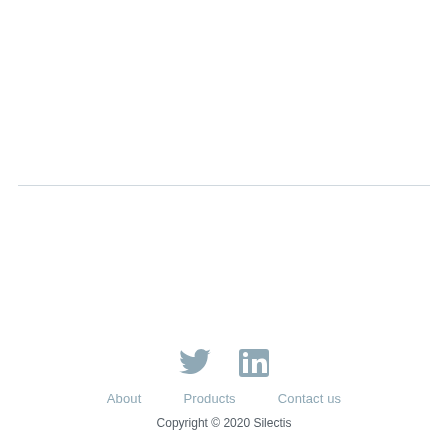[Figure (other): Horizontal divider line separating upper content area from footer]
[Figure (other): Social media icons: Twitter bird icon and LinkedIn 'in' icon, both in muted blue-grey color]
About   Products   Contact us
Copyright © 2020 Silectis